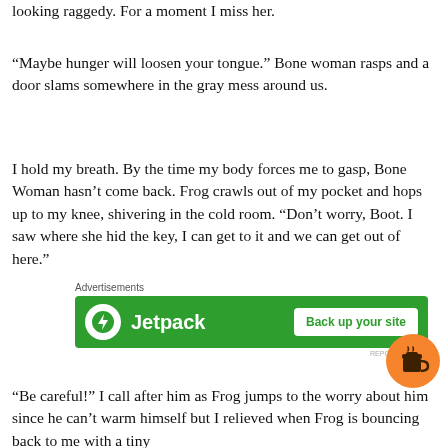looking raggedy. For a moment I miss her.
“Maybe hunger will loosen your tongue.” Bone woman rasps and a door slams somewhere in the gray mess around us.
I hold my breath. By the time my body forces me to gasp, Bone Woman hasn’t come back. Frog crawls out of my pocket and hops up to my knee, shivering in the cold room. “Don’t worry, Boot. I saw where she hid the key, I can get to it and we can get out of here.”
[Figure (screenshot): Jetpack advertisement banner with green background, white circular icon with lightning bolt, 'Jetpack' text in white, and 'Back up your site' button]
“Be careful!” I call after him as Frog jumps to the worry about him since he can’t warm himself but relieved when Frog is bouncing back to me with a tiny